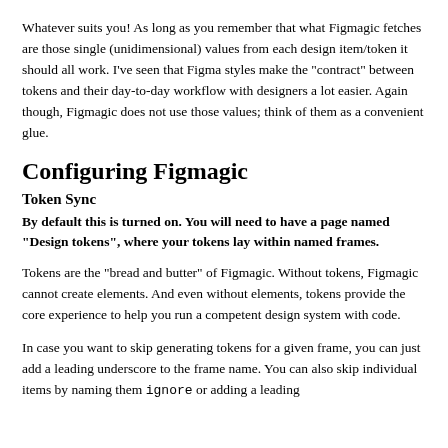Whatever suits you! As long as you remember that what Figmagic fetches are those single (unidimensional) values from each design item/token it should all work. I've seen that Figma styles make the "contract" between tokens and their day-to-day workflow with designers a lot easier. Again though, Figmagic does not use those values; think of them as a convenient glue.
Configuring Figmagic
Token Sync
By default this is turned on. You will need to have a page named "Design tokens", where your tokens lay within named frames.
Tokens are the "bread and butter" of Figmagic. Without tokens, Figmagic cannot create elements. And even without elements, tokens provide the core experience to help you run a competent design system with code.
In case you want to skip generating tokens for a given frame, you can just add a leading underscore to the frame name. You can also skip individual items by naming them ignore or adding a leading